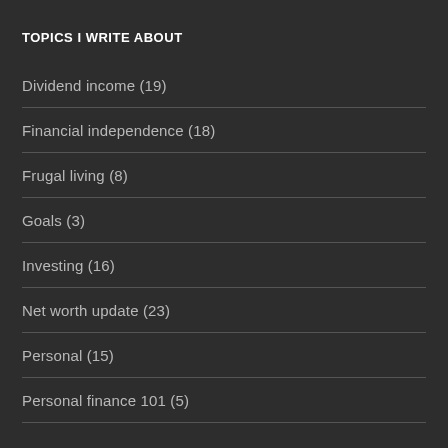TOPICS I WRITE ABOUT
Dividend income (19)
Financial independence (18)
Frugal living (8)
Goals (3)
Investing (16)
Net worth update (23)
Personal (15)
Personal finance 101 (5)